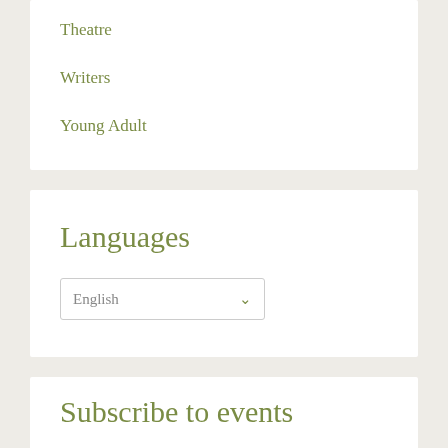Theatre
Writers
Young Adult
Languages
English
Subscribe to events